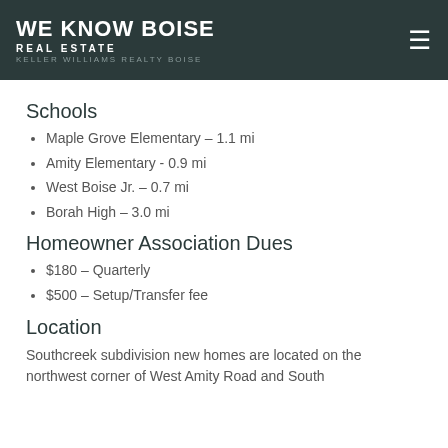WE KNOW BOISE REAL ESTATE KELLER WILLIAMS REALTY BOISE
Schools
Maple Grove Elementary – 1.1 mi
Amity Elementary - 0.9 mi
West Boise Jr. – 0.7 mi
Borah High – 3.0 mi
Homeowner Association Dues
$180 – Quarterly
$500 – Setup/Transfer fee
Location
Southcreek subdivision new homes are located on the northwest corner of West Amity Road and South